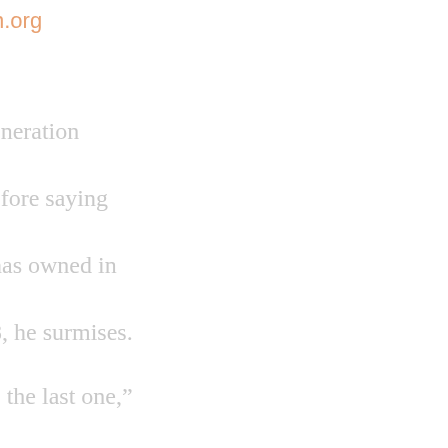n.org
eneration
efore saying
has owned in
8, he surmises.
e the last one,”
Cape Island
g, almost sweet,
e air and a
mostly filling
bout 60-
e, “I’m not going